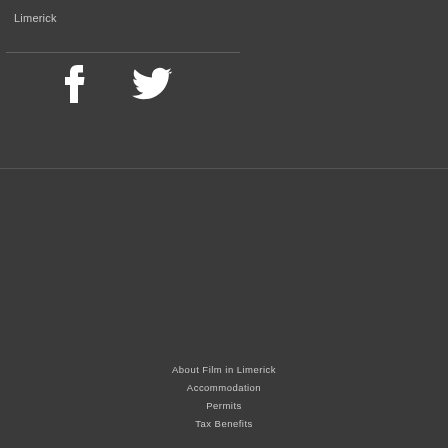Limerick
[Figure (illustration): Facebook and Twitter social media icons in white on dark background]
About Film in Limerick
Accommodation
Permits
Tax Benefits
Terms and Conditions
Cookie Policy
INNOVATE
Limerick.ie
This website uses cookies to ensure the best experience on our website.
© Innovate Limerick 2016 | Website design and build by Openpoint